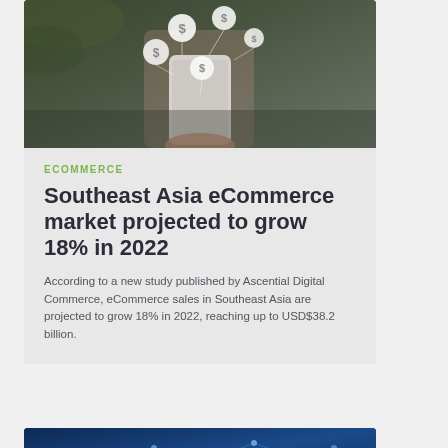[Figure (photo): A person holding a smartphone with floating dollar sign coin icons above it, suggesting mobile ecommerce or digital payments, dark background]
ECOMMERCE
Southeast Asia eCommerce market projected to grow 18% in 2022
According to a new study published by Ascential Digital Commerce, eCommerce sales in Southeast Asia are projected to grow 18% in 2022, reaching up to USD$38.2 billion.
[Figure (photo): Dark blue technology background with glowing network and digital icons, suggesting fintech or digital commerce theme]